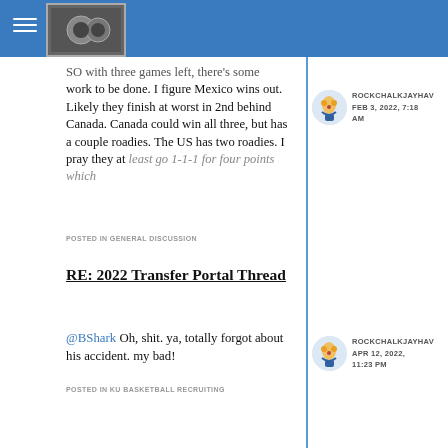ROCKCHALKJAYHAW
work to be done. I figure Mexico wins out. Likely they finish at worst in 2nd behind Canada. Canada could win all three, but has a couple roadies. The US has two roadies. I pray they at least go 1-1-1 for four points which
POSTED IN GENERAL DISCUSSION
ROCKCHALKJAYHAW FEB 3, 2022, 7:18 AM
RE: 2022 Transfer Portal Thread
@BShark Oh, shit. ya, totally forgot about his accident. my bad!
POSTED IN KU BASKETBALL RECRUITING
ROCKCHALKJAYHAW APR 12, 2022, 11:23 PM